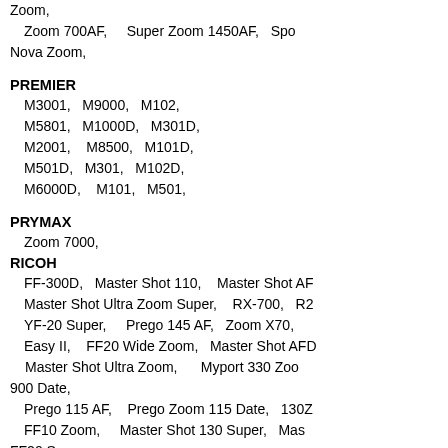Zoom, Zoom 700AF, Super Zoom 1450AF, Spo... Nova Zoom,
PREMIER
M3001, M9000, M102, M5801, M1000D, M301D, M2001, M8500, M101D, M501D, M301, M102D, M6000D, M101, M501,
PRYMAX
Zoom 7000,
RICOH
FF-300D, Master Shot 110, Master Shot AF... Master Shot Ultra Zoom Super, RX-700, R2... YF-20 Super, Prego 145 AF, Zoom X70, Easy II, FF20 Wide Zoom, Master Shot AFD... Master Shot Ultra Zoom, Myport 330 Zoo... 900 Date, Prego 115 AF, Prego Zoom 115 Date, 130Z... FF10 Zoom, Master Shot 130 Super, Mas... FF20 Super, Master Shot Zoom 70D, RZ 105 Zoom, RZ-... Zoom Super, Prego 90, FF-20L-20,